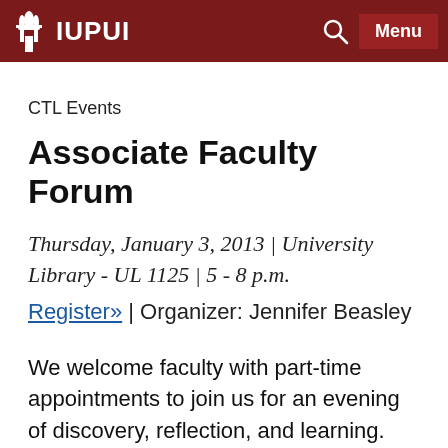IUPUI
CTL Events
Associate Faculty Forum
Thursday, January 3, 2013 | University Library - UL 1125 | 5 - 8 p.m.
Register» | Organizer: Jennifer Beasley
We welcome faculty with part-time appointments to join us for an evening of discovery, reflection, and learning. You'll find